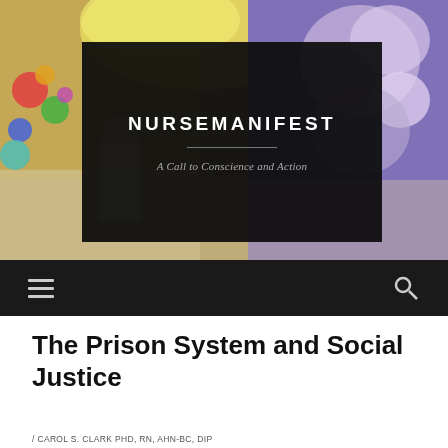[Figure (photo): Header banner image of a healthcare/market scene with colorful items on the left and purple flower/textile on the right]
NURSEMANIFEST
A Call to Conscience and Action
[Figure (other): Navigation bar with hamburger menu icon on left and search icon on right, dark background]
The Prison System and Social Justice
/ CAROL S. CLARK PHD, RN, AHN-BC, DIP